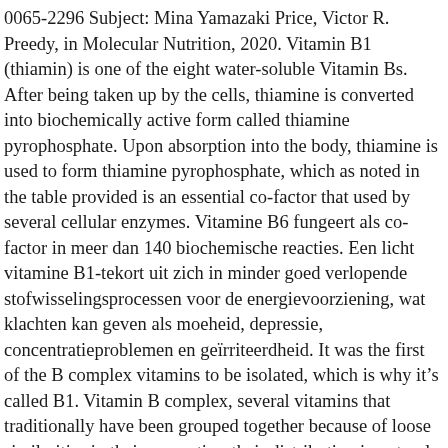0065-2296 Subject: Mina Yamazaki Price, Victor R. Preedy, in Molecular Nutrition, 2020. Vitamin B1 (thiamin) is one of the eight water-soluble Vitamin Bs. After being taken up by the cells, thiamine is converted into biochemically active form called thiamine pyrophosphate. Upon absorption into the body, thiamine is used to form thiamine pyrophosphate, which as noted in the table provided is an essential co-factor that used by several cellular enzymes. Vitamine B6 fungeert als co-factor in meer dan 140 biochemische reacties. Een licht vitamine B1-tekort uit zich in minder goed verlopende stofwisselingsprocessen voor de energievoorziening, wat klachten kan geven als moeheid, depressie, concentratieproblemen en geïrriteerdheid. It was the first of the B complex vitamins to be isolated, which is why it's called B1. Vitamin B complex, several vitamins that traditionally have been grouped together because of loose similarities in their properties, their distribution in natural sources, and their physiological functions, which overlap considerably. Vitamin B1 homeostasis. They generally cannot be synthesized by mammalian cells and, therefore, must be supplied in the diet.